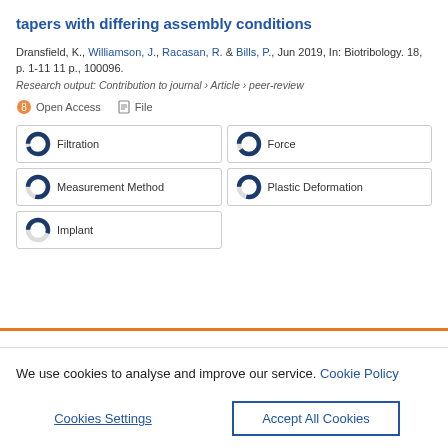tapers with differing assembly conditions
Dransfield, K., Williamson, J., Racasan, R. & Bills, P., Jun 2019, In: Biotribology. 18, p. 1-11 11 p., 100096.
Research output: Contribution to journal › Article › peer-review
Open Access   File
Filtration
Force
Measurement Method
Plastic Deformation
Implant
We use cookies to analyse and improve our service. Cookie Policy
Cookies Settings
Accept All Cookies